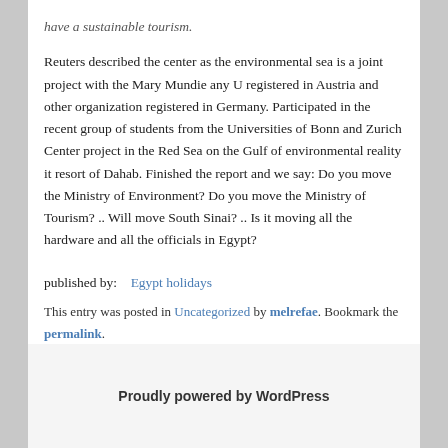have a sustainable tourism. Reuters described the center as the environmental sea is a joint project with the Mary Mundie any U registered in Austria and other organization registered in Germany. Participated in the recent group of students from the Universities of Bonn and Zurich Center project in the Red Sea on the Gulf of environmental reality it resort of Dahab. Finished the report and we say: Do you move the Ministry of Environment? Do you move the Ministry of Tourism? .. Will move South Sinai? .. Is it moving all the hardware and all the officials in Egypt?
published by:    Egypt holidays
This entry was posted in Uncategorized by melrefae. Bookmark the permalink.
Proudly powered by WordPress